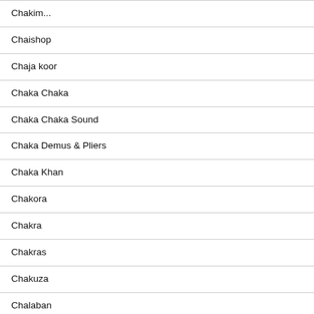Chakim...
Chaishop
Chaja koor
Chaka Chaka
Chaka Chaka Sound
Chaka Demus & Pliers
Chaka Khan
Chakora
Chakra
Chakras
Chakuza
Chalaban
Chalani z chatrče